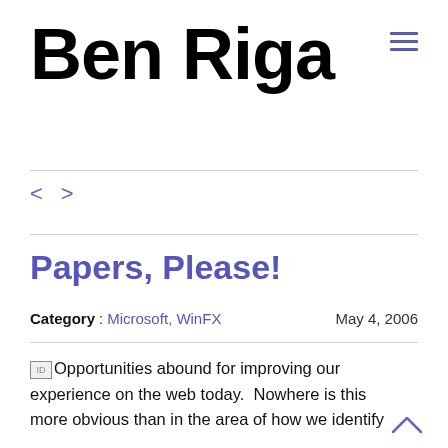Ben Riga
[Figure (other): Hamburger menu icon (three horizontal lines) in blue/purple color, top right corner]
< >
Papers, Please!
Category : Microsoft, WinFX    May 4, 2006
[ID] Opportunities abound for improving our experience on the web today.  Nowhere is this more obvious than in the area of how we identify